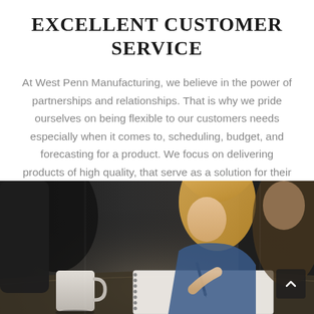EXCELLENT CUSTOMER SERVICE
At West Penn Manufacturing, we believe in the power of partnerships and relationships. That is why we pride ourselves on being flexible to our customers needs especially when it comes to, scheduling, budget, and forecasting for a product. We focus on delivering products of high quality, that serve as a solution for their project needs.
[Figure (photo): Photo of people sitting at a table in a meeting or work setting. A woman with long blonde hair is writing in a notebook. A white coffee mug is visible in the foreground. The scene has a dark, moody ambiance.]